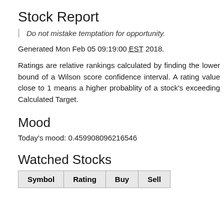Stock Report
Do not mistake temptation for opportunity.
Generated Mon Feb 05 09:19:00 EST 2018.
Ratings are relative rankings calculated by finding the lower bound of a Wilson score confidence interval. A rating value close to 1 means a higher probablity of a stock's exceeding Calculated Target.
Mood
Today's mood: 0.459908096216546
Watched Stocks
| Symbol | Rating | Buy | Sell |
| --- | --- | --- | --- |